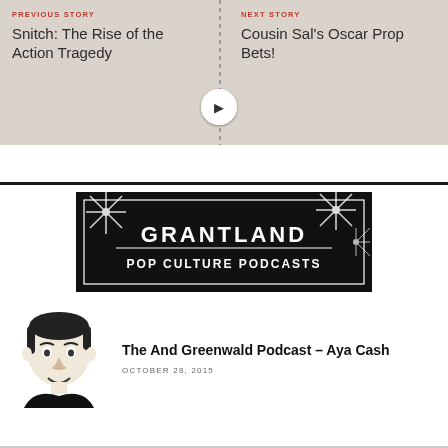PREVIOUS STORY
NEXT STORY
Snitch: The Rise of the Action Tragedy
Cousin Sal's Oscar Prop Bets!
[Figure (illustration): Grantland Pop Culture Podcasts banner with starbursts on dark background]
[Figure (illustration): Illustrated portrait of Andy Greenwald]
The And Greenwald Podcast – Aya Cash
OCTOBER 28, 2015